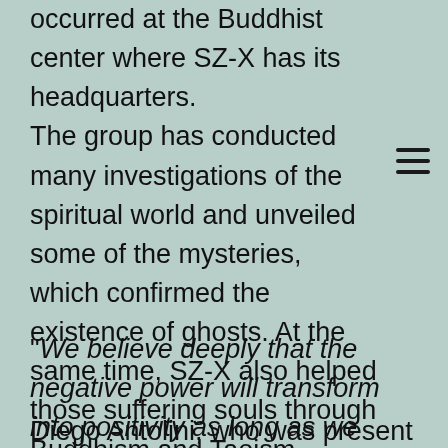occurred at the Buddhist center where SZ-X has its headquarters. The group has conducted many investigations of the spiritual world and unveiled some of the mysteries, which confirmed the existence of ghosts. At the same time, SZ-X also helped those suffering souls through Buddhism and Taoism salvation ceremonies.
"We believe deeply that the negative power will transform into positivity as long as we keep our kind hearts." Said SZ-X's leaders.
Diego Antolini, who was present at the